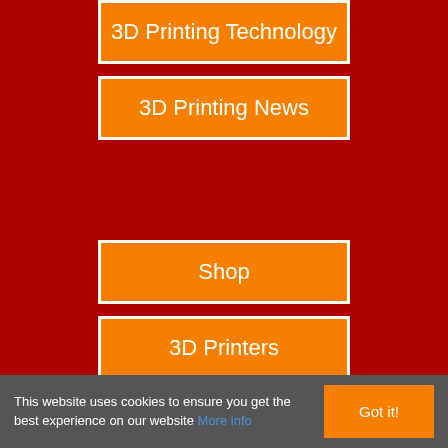3D Printing Technology
3D Printing News
Shop
3D Printers
Brand
3D Printer Filament
ABS Filament
This website uses cookies to ensure you get the best experience on our website More info